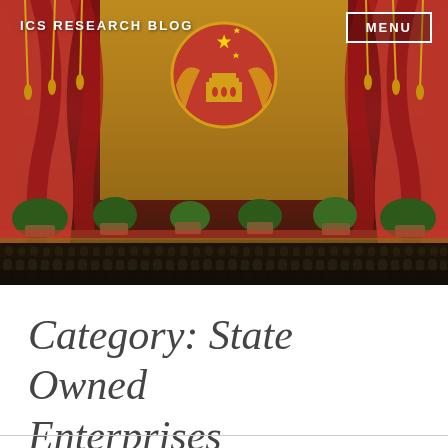[Figure (photo): A large formal gathering inside what appears to be the Great Hall of the People in Beijing, China. The hall is decorated with red draped curtains, golden tassels, and the Chinese national emblem (a red circle with Tiananmen Gate and stars) prominently displayed at the top center. Rows of delegates in formal and military attire are seated in the audience below the stage.]
ICS RESEARCH BLOG
MENU
Category: State Owned Enterprises